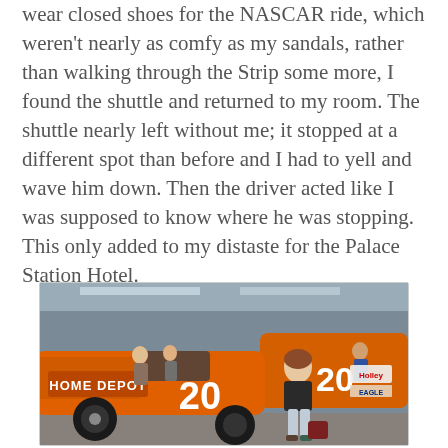wear closed shoes for the NASCAR ride, which weren't nearly as comfy as my sandals, rather than walking through the Strip some more, I found the shuttle and returned to my room. The shuttle nearly left without me; it stopped at a different spot than before and I had to yell and wave him down. Then the driver acted like I was supposed to know where he was stopping. This only added to my distaste for the Palace Station Hotel.
[Figure (photo): A woman standing in front of a NASCAR Home Depot #20 race car in an indoor garage or exhibition space. The car is orange with black number 20 and Home Depot branding. Other people and vehicles are visible in the background.]